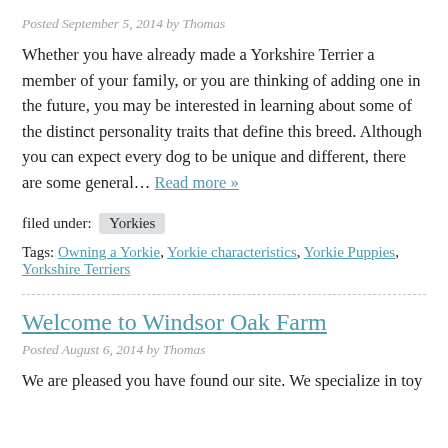Posted September 5, 2014 by Thomas
Whether you have already made a Yorkshire Terrier a member of your family, or you are thinking of adding one in the future, you may be interested in learning about some of the distinct personality traits that define this breed. Although you can expect every dog to be unique and different, there are some general… Read more »
filed under: Yorkies
Tags: Owning a Yorkie, Yorkie characteristics, Yorkie Puppies, Yorkshire Terriers
Welcome to Windsor Oak Farm
Posted August 6, 2014 by Thomas
We are pleased you have found our site. We specialize in toy